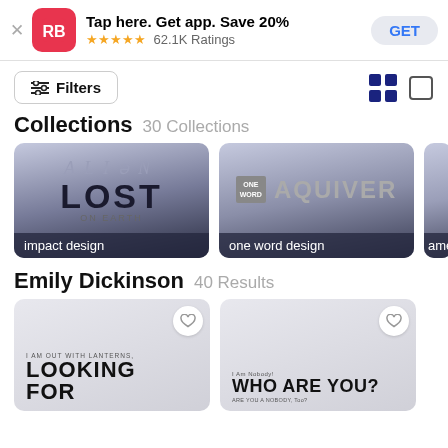[Figure (screenshot): Redbubble app banner with RB logo, 'Tap here. Get app. Save 20%', 5 stars, 62.1K Ratings, GET button]
Filters
Collections  30 Collections
[Figure (illustration): Collection card showing 'ALIEN LOST' impact design typography]
[Figure (illustration): Collection card showing 'ONE WORD AQUIVER' one word design]
Emily Dickinson  40 Results
[Figure (illustration): Product card: 'I AM OUT WITH LANTERNS, LOOKING FOR']
[Figure (illustration): Product card: 'I Am Nobody! WHO ARE YOU?']